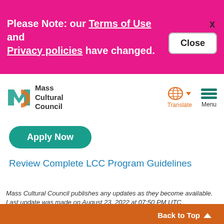Please Note: our Terms of Use and Privacy policies have changed.
[Figure (screenshot): Mass Cultural Council logo with MC monogram and text]
[Figure (infographic): Translate globe icon with dropdown arrow and Menu hamburger icon]
[Figure (infographic): Apply Now teal rounded button]
Review Complete LCC Program Guidelines
Mass Cultural Council publishes any updates as they become available. Last update was made on August 23, 2022 at 07:50 PM UTC
[Figure (infographic): Social sharing icons: Facebook (dark blue), Twitter (light blue), Email/newsletter (gray), Add/Plus (orange-red), and Back to Top button]
Back to Top